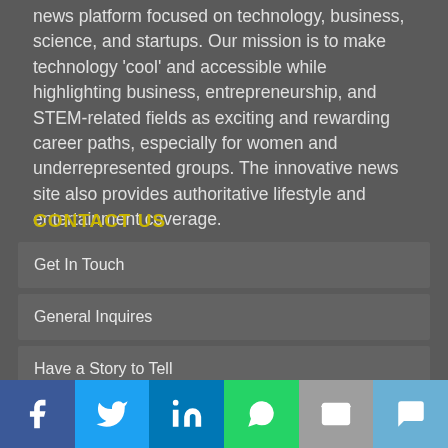news platform focused on technology, business, science, and startups. Our mission is to make technology 'cool' and accessible while highlighting business, entrepreneurship, and STEM-related fields as exciting and rewarding career paths, especially for women and underrepresented groups. The innovative news site also provides authoritative lifestyle and entertainment coverage.
CONTACT US
Get In Touch
General Inquires
Have a Story to Tell
About & Team
[Figure (infographic): Social media sharing bar with icons for Facebook, Twitter, LinkedIn, WhatsApp, Email, and SMS]